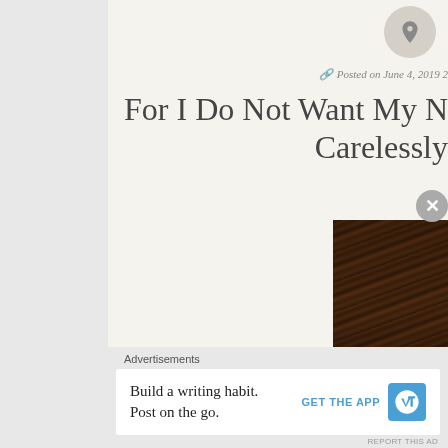Posted on June 4, 2019 2
For I Do Not Want My N... Carelessly
[Figure (photo): Dark photo of tangled tree branches at night with white cursive text reading 'Starr...' and 'I...']
Advertisements
Build a writing habit.
Post on the go.
GET THE APP